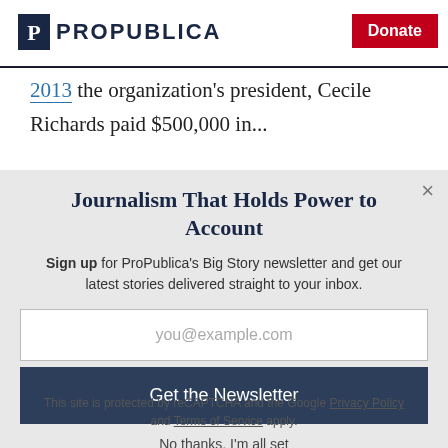ProPublica | Donate
2013 the organization's president, Cecile Richards paid $500,000 in...
Journalism That Holds Power to Account
Sign up for ProPublica's Big Story newsletter and get our latest stories delivered straight to your inbox.
you@example.com
Get the Newsletter
No thanks, I'm all set
This site is protected by reCAPTCHA and the Google Privacy Policy and Terms of Service apply.